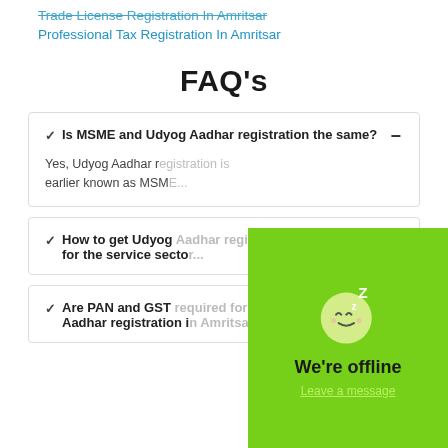Trade License Registration In Amritsar
Professional Tax Registration In Amritsar
FAQ's
Is MSME and Udyog Aadhar registration the same?
Yes, Udyog Aadhar registration is earlier known as MSME...
How to get Udyog Aadhar registration for the service sector...
Are PAN and GST required for Udyog Aadhar registration in Amritsar?
[Figure (screenshot): A green chat widget overlay showing a sleeping face emoji with 'Z' letters indicating sleep/offline, with text 'We're offline' and a 'Leave a message' link.]